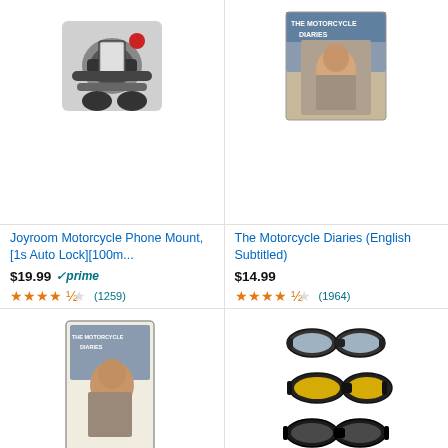[Figure (photo): Joyroom Motorcycle Phone Mount product image]
Joyroom Motorcycle Phone Mount, [1s Auto Lock][100m...
$19.99 prime
4.5 stars (1259)
[Figure (photo): The Motorcycle Diaries movie cover - English Subtitled]
The Motorcycle Diaries (English Subtitled)
$14.99
4.5 stars (1964)
[Figure (photo): The Motorcycle Diaries Widescreen Edition DVD cover]
The Motorcycle Diaries (Widescreen Edition)
$6.99 $9.99 prime
4.5 stars (1964)
[Figure (photo): 3 Pair Motorcycle Riding Glasses Padding Goggles product image]
3 Pair Motorcycle Riding Glasses Padding Goggles U...
$12.99 $19.99 prime
3.5 stars (14964)